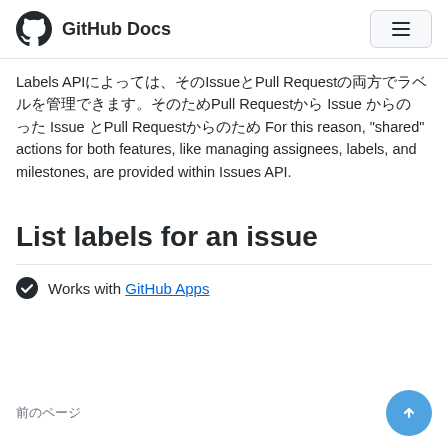GitHub Docs
Labels APIによってIssueとPull Requestの両方でラベルを管理できます。Pull Request Issue からの Issue とPull Requestからのため For this reason, "shared" actions for both features, like managing assignees, labels, and milestones, are provided within Issues API.
List labels for an issue
Works with GitHub Apps
前のページ